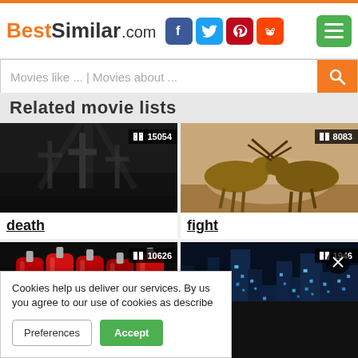BestSimilar.com
Movies like ... | Movies about ...
Related movie lists
[Figure (photo): Dark grayscale image of cemetery crosses in a forest, with badge showing film reel icon and number 15054]
death
[Figure (photo): Photo of two oryx antelopes fighting/locking horns in a dusty savanna, with badge showing film reel icon and number 8083]
fight
[Figure (photo): Photo of multiple bags of red blood hanging, with badge showing film reel icon and number 10626]
[Figure (photo): Dark sci-fi cityscape with blue glowing lights, with badge showing film reel icon and number 1946, partially covered by Songkick widget]
Cookies help us deliver our services. By us you agree to our use of cookies as describe
Preferences
Accept